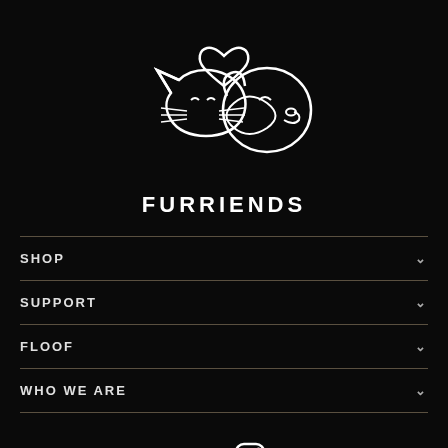[Figure (logo): Furriends logo: line drawing of a cat and dog together with a heart above, in white on black background, with text FURRIENDS below]
SHOP
SUPPORT
FLOOF
WHO WE ARE
[Figure (illustration): Facebook and Instagram social media icons in white]